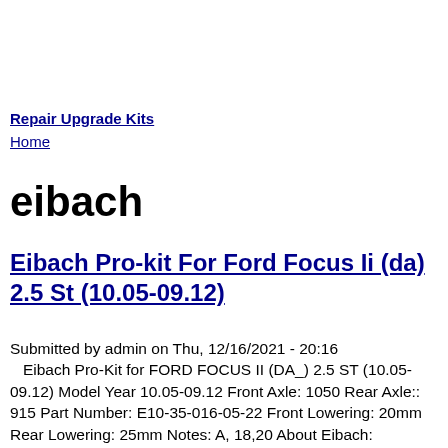Repair Upgrade Kits
Home
eibach
Eibach Pro-kit For Ford Focus Ii (da) 2.5 St (10.05-09.12)
Submitted by admin on Thu, 12/16/2021 - 20:16
   Eibach Pro-Kit for FORD FOCUS II (DA_) 2.5 ST (10.05-09.12) Model Year 10.05-09.12 Front Axle: 1050 Rear Axle:: 915 Part Number: E10-35-016-05-22 Front Lowering: 20mm Rear Lowering: 25mm Notes: A, 18,20 About Eibach: Founded in Germany in 1951, Heinrich Eibach laid the foundation for the Eibach Group which is now active around the world. After Heinrich passed away in 1967, his son Wilfried took charge and